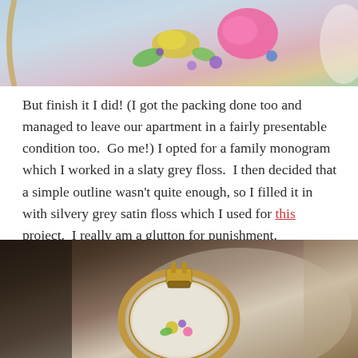[Figure (photo): Close-up photo of colorful embroidery on fabric in a hoop, showing pink, yellow, green, and purple stitching on a light blue/white textured background]
But finish it I did! (I got the packing done too and managed to leave our apartment in a fairly presentable condition too.  Go me!) I opted for a family monogram which I worked in a slaty grey floss.  I then decided that a simple outline wasn't quite enough, so I filled it in with silvery grey satin floss which I used for this project.  I really am a glutton for punishment.  Interestingly though, I found working satin floss in satin stitch much easier than cross stitch....maybe the clue is in the name and I shouldn't be surprised about that at all?!
[Figure (photo): Photo of an embroidery hoop held in hands, showing a wooden hoop with screw tightener at top, containing white aida cloth with small colorful embroidery design in progress]